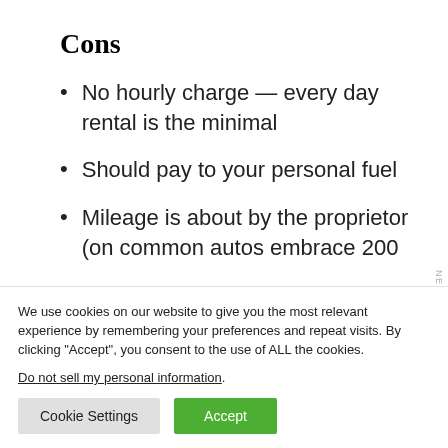Cons
No hourly charge — every day rental is the minimal
Should pay to your personal fuel
Mileage is about by the proprietor (on common autos embrace 200
We use cookies on our website to give you the most relevant experience by remembering your preferences and repeat visits. By clicking "Accept", you consent to the use of ALL the cookies.
Do not sell my personal information.